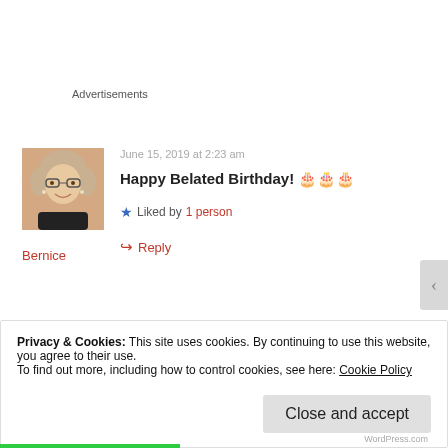Advertisements
[Figure (photo): Profile photo of a woman with short blonde hair and glasses, smiling, wearing a dark top]
Bernice
June 15, 2019 at 2:23 am
Happy Belated Birthday! 🎂🎂🎂
★ Liked by 1 person
↪ Reply
Privacy & Cookies: This site uses cookies. By continuing to use this website, you agree to their use. To find out more, including how to control cookies, see here: Cookie Policy
Close and accept